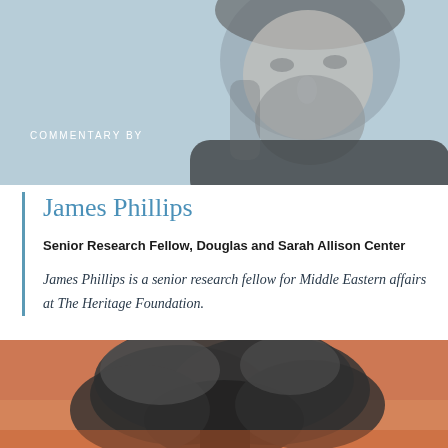[Figure (photo): Black and white portrait photo of a middle-aged man with a beard, cropped to show face and upper shoulders, against a light blue-gray background]
COMMENTARY BY
James Phillips
Senior Research Fellow, Douglas and Sarah Allison Center
James Phillips is a senior research fellow for Middle Eastern affairs at The Heritage Foundation.
[Figure (photo): Dramatic photo of large dark smoke clouds billowing upward against an orange-pink sky, suggesting an explosion or fire]